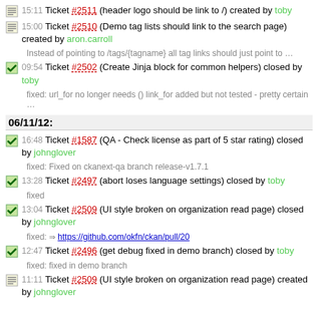15:11 Ticket #2511 (header logo should be link to /) created by toby
15:00 Ticket #2510 (Demo tag lists should link to the search page) created by aron.carroll
Instead of pointing to /tags/{tagname} all tag links should just point to …
09:54 Ticket #2502 (Create Jinja block for common helpers) closed by toby
fixed: url_for no longer needs () link_for added but not tested - pretty certain …
06/11/12:
16:48 Ticket #1587 (QA - Check license as part of 5 star rating) closed by johnglover
fixed: Fixed on ckanext-qa branch release-v1.7.1
13:28 Ticket #2497 (abort loses language settings) closed by toby
fixed
13:04 Ticket #2509 (UI style broken on organization read page) closed by johnglover
fixed: https://github.com/okfn/ckan/pull/20
12:47 Ticket #2496 (get debug fixed in demo branch) closed by toby
fixed: fixed in demo branch
11:11 Ticket #2509 (UI style broken on organization read page) created by johnglover